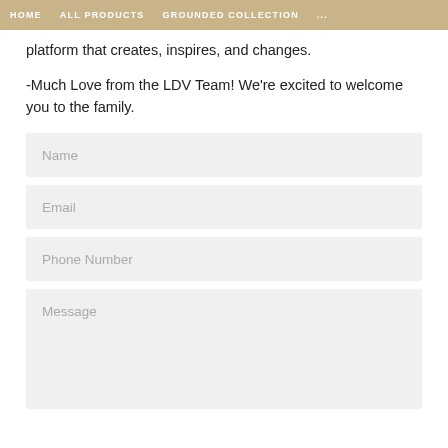HOME   ALL PRODUCTS   GROUNDED COLLECTION   ...
platform that creates, inspires, and changes.
-Much Love from the LDV Team! We're excited to welcome you to the family.
Name
Email
Phone Number
Message